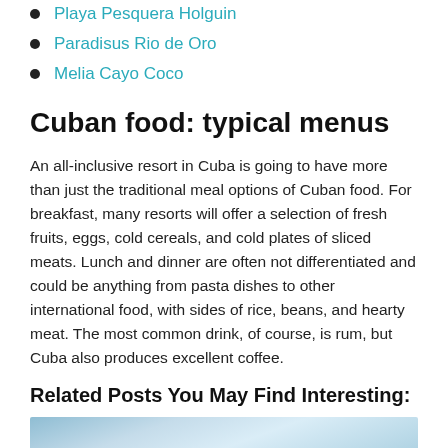Playa Pesquera Holguin
Paradisus Rio de Oro
Melia Cayo Coco
Cuban food: typical menus
An all-inclusive resort in Cuba is going to have more than just the traditional meal options of Cuban food. For breakfast, many resorts will offer a selection of fresh fruits, eggs, cold cereals, and cold plates of sliced meats. Lunch and dinner are often not differentiated and could be anything from pasta dishes to other international food, with sides of rice, beans, and hearty meat. The most common drink, of course, is rum, but Cuba also produces excellent coffee.
Related Posts You May Find Interesting:
[Figure (photo): Sky and clouds photo strip at bottom of page]